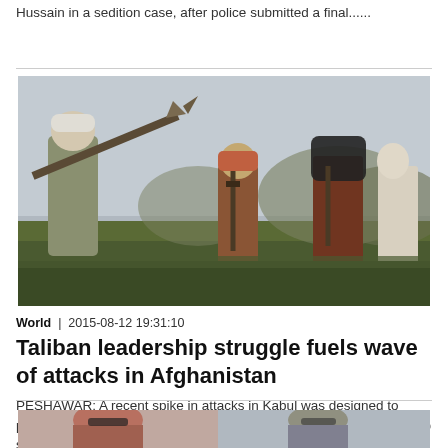Hussain in a sedition case, after police submitted a final......
[Figure (photo): Armed Taliban fighters in Afghanistan, one holding an RPG launcher on his shoulder, others holding rifles, standing in a field with mountains in the background.]
World  |  2015-08-12 19:31:10
Taliban leadership struggle fuels wave of attacks in Afghanistan
PESHAWAR: A recent spike in attacks in Kabul was designed to prove the Afghan Taliban's new leader was firmly in charge, the group said, but Mullah Akhtar Mansoor's position remains precarious as......
[Figure (photo): Partially visible image of two people, one with red hair wearing sunglasses, another person to the right, cropped at bottom of page.]